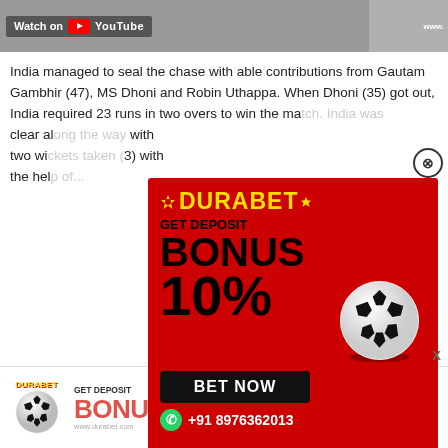[Figure (screenshot): Top strip showing 'Watch on YouTube' with a partial video thumbnail on the right]
India managed to seal the chase with able contributions from Gautam Gambhir (47), MS Dhoni and Robin Uthappa. When Dhoni (35) got out, India required 23 runs in two overs to win the match. India was clear about the strategy with two wickets (3) with the help of...
[Figure (infographic): DURABET popup advertisement: red background, yellow DURABET logo, GET DEPOSIT BONUS 10%, BET NOW button, +91 8976362013 WhatsApp number, soccer ball graphic]
[Figure (infographic): DURABET bottom banner advertisement: DURABET logo, soccer ball, GET DEPOSIT BONUS 10%, BET NOW button, www.durabet.com, +91 8976362013]